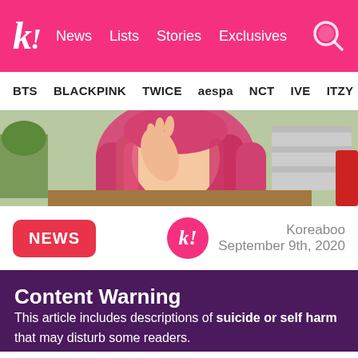k! News Lists Stories Exclusives
BTS BLACKPINK TWICE aespa NCT IVE ITZY
[Figure (photo): Person with long pink/red hair and pink outfit, seated indoors with plants and shelves in background]
NEWS
Koreaboo September 9th, 2020
Content Warning
This article includes descriptions of suicide or self harm that may disturb some readers.
Former girl group member Shin Minah was rescued by police after it was noticed that she